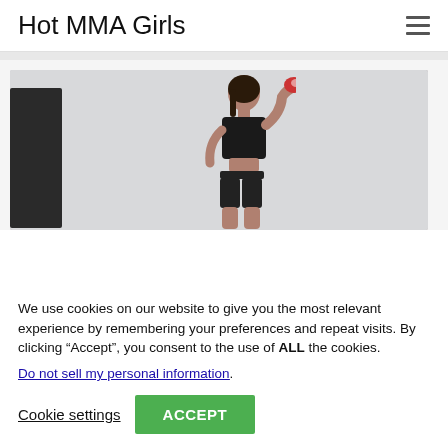Hot MMA Girls
[Figure (photo): Woman in black sports bra and shorts posing with boxing glove raised near her head, against a white/gray wall background with a dark punching bag on the left.]
We use cookies on our website to give you the most relevant experience by remembering your preferences and repeat visits. By clicking “Accept”, you consent to the use of ALL the cookies.
Do not sell my personal information.